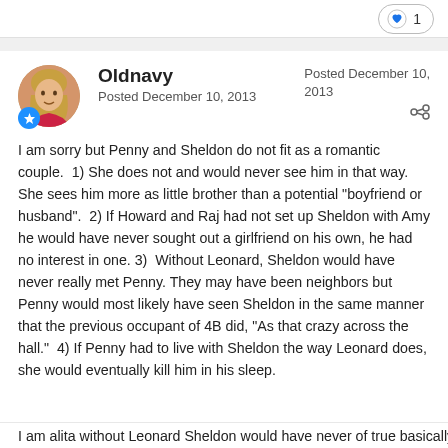[Figure (other): Like button with heart icon showing count of 1]
[Figure (photo): User avatar photo of Oldnavy showing a woman with blonde hair and red top, with a blue badge below]
Oldnavy
Posted December 10, 2013
Posted December 10, 2013
I am sorry but Penny and Sheldon do not fit as a romantic couple.  1) She does not and would never see him in that way.  She sees him more as little brother than a potential "boyfriend or husband".  2) If Howard and Raj had not set up Sheldon with Amy he would have never sought out a girlfriend on his own, he had no interest in one.  3)  Without Leonard, Sheldon would have never really met Penny.  They may have been neighbors but Penny would most likely have seen Sheldon in the same manner that the previous occupant of 4B did, "As that crazy across the hall."  4) If Penny had to live with Sheldon the way Leonard does, she would eventually kill him in his sleep.
I am alita without Leonard Sheldon would have never of true basically S...